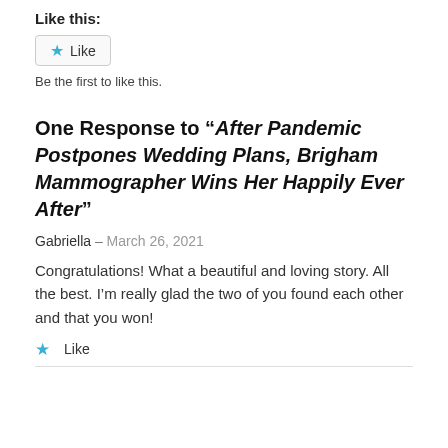Like this:
Like
Be the first to like this.
One Response to “After Pandemic Postpones Wedding Plans, Brigham Mammographer Wins Her Happily Ever After”
Gabriella – March 26, 2021
Congratulations! What a beautiful and loving story. All the best. I’m really glad the two of you found each other and that you won!
Like